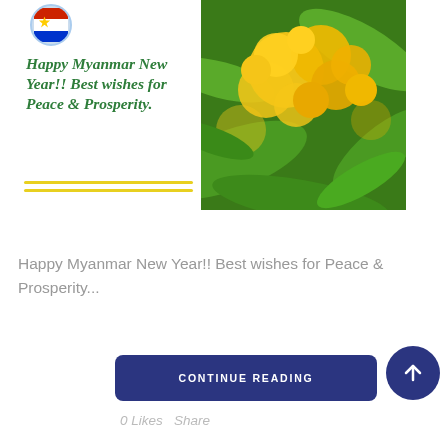[Figure (illustration): Myanmar New Year greeting card with bold green italic text 'Happy Myanmar New Year!! Best wishes for Peace & Prosperity.' on left side with logo circle and yellow decorative lines, and yellow flower photo on right side]
Happy Myanmar New Year!! Best wishes for Peace & Prosperity...
CONTINUE READING
0 Likes   Share